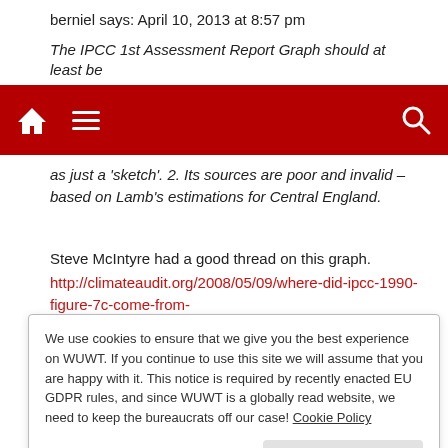berniel says: April 10, 2013 at 8:57 pm
The IPCC 1st Assessment Report Graph should at least be
[Figure (screenshot): Red navigation bar with home icon, hamburger menu icon, and search icon on dark red background]
as just a 'sketch'. 2. Its sources are poor and invalid – based on Lamb's estimations for Central England.
Steve McIntyre had a good thread on this graph.
http://climateaudit.org/2008/05/09/where-did-ipcc-1990-figure-7c-come-from-httpwwwclimateauditorgp3072previewtrue/
which I've added to the graph for reader's reference:
We use cookies to ensure that we give you the best experience on WUWT. If you continue to use this site we will assume that you are happy with it. This notice is required by recently enacted EU GDPR rules, and since WUWT is a globally read website, we need to keep the bureaucrats off our case! Cookie Policy
Close and accept